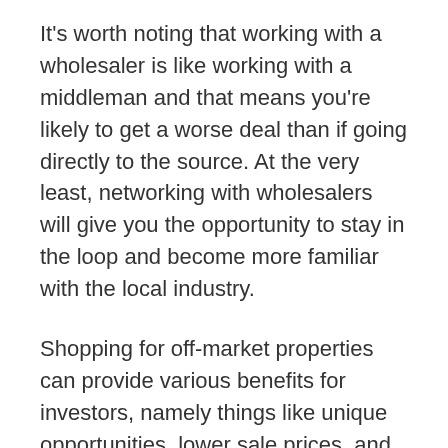It's worth noting that working with a wholesaler is like working with a middleman and that means you're likely to get a worse deal than if going directly to the source. At the very least, networking with wholesalers will give you the opportunity to stay in the loop and become more familiar with the local industry.
Shopping for off-market properties can provide various benefits for investors, namely things like unique opportunities, lower sale prices, and less competition for buyers. With the right property, you can find yourself with wide profit margins.
Seeking new ways to strategize your real estate investment goals is the key to success, and if you're ready to discuss your financing opportunities for your next project, contact Money Source of America today.